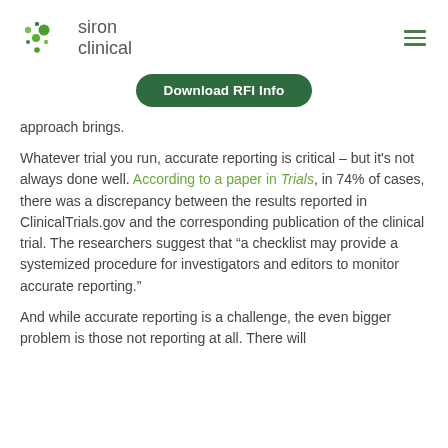siron clinical
Download RFI Info
approach brings.
Whatever trial you run, accurate reporting is critical – but it's not always done well. According to a paper in Trials, in 74% of cases, there was a discrepancy between the results reported in ClinicalTrials.gov and the corresponding publication of the clinical trial. The researchers suggest that “a checklist may provide a systemized procedure for investigators and editors to monitor accurate reporting.”
And while accurate reporting is a challenge, the even bigger problem is those not reporting at all. There will